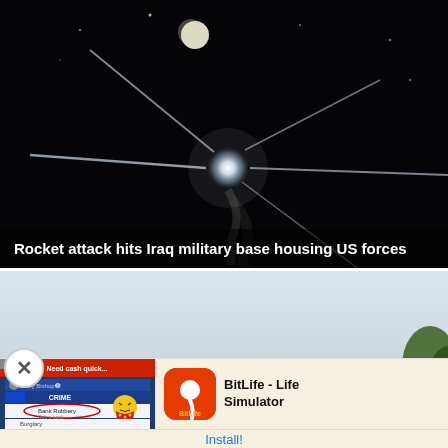[Figure (photo): Night sky photo showing a bright light explosion or missile intercept with light trails crossing, with a small moon visible in the upper portion. Dark background.]
Rocket attack hits Iraq military base housing US forces
[Figure (photo): Partial daylight sky photo, pale blue-grey sky with some tree foliage visible at right edge.]
[Figure (screenshot): BitLife - Life Simulator mobile game advertisement. Shows game UI with crime menu, Bank Robbery option circled, and a cartoon bandit emoji character. BitLife app icon shown in orange/red. Text: 'Need cash quick...' and 'Install!' button.]
BitLife - Life Simulator
Install!